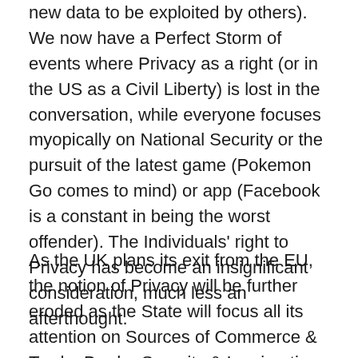new data to be exploited by others). We now have a Perfect Storm of events where Privacy as a right (or in the US as a Civil Liberty) is lost in the conversation, while everyone focuses myopically on National Security or the pursuit of the latest game (Pokemon Go comes to mind) or app (Facebook is a constant in being the worst offender). The Individuals' right to Privacy has become an insignificant consideration, much less an afterthought.
As the UK plans its exit from the EU, the notion of Privacy will be further eroded as the State will focus all its attention on Sources of Commerce & Trade, Border Security & Immigration. These negotiations will be another opportunity for Privacy Rights to be further traded away in return for hollow promises of gold or enhanced security. In the end it should be clear to all members of the Electorate